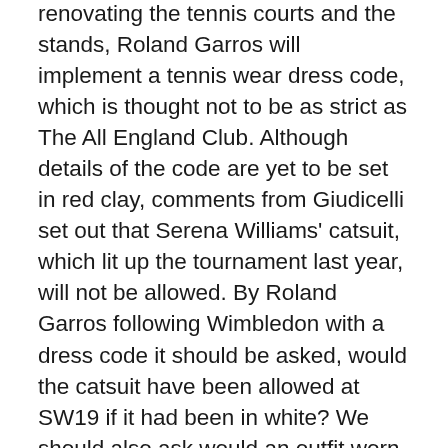renovating the tennis courts and the stands, Roland Garros will implement a tennis wear dress code, which is thought not to be as strict as The All England Club. Although details of the code are yet to be set in red clay, comments from Giudicelli set out that Serena Williams' catsuit, which lit up the tournament last year, will not be allowed.  By Roland Garros following Wimbledon with a dress code it should be asked, would the catsuit have been allowed at SW19 if it had been in white?  We should also ask would an outfit worn by Roger Federer or Rafael Nadal have received such treatment?
The bodysuit, or catsuit as it has often been referred to, was worn by Serena Williams at the French Open.  It was black, with a red belt and the Nike swoosh at the centre of the torso. It had short sleeves and was full length to the ankles.  The fashion side of the suit has not been missed